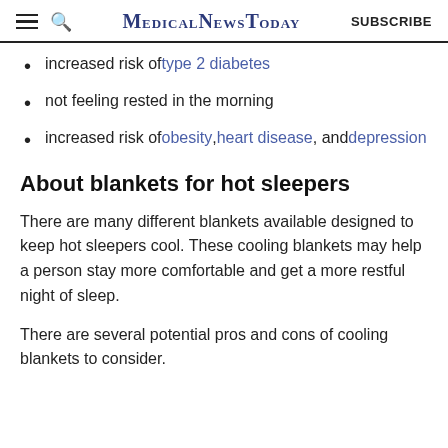MedicalNewsToday  SUBSCRIBE
increased risk of type 2 diabetes
not feeling rested in the morning
increased risk of obesity, heart disease, and depression
About blankets for hot sleepers
There are many different blankets available designed to keep hot sleepers cool. These cooling blankets may help a person stay more comfortable and get a more restful night of sleep.
There are several potential pros and cons of cooling blankets to consider.